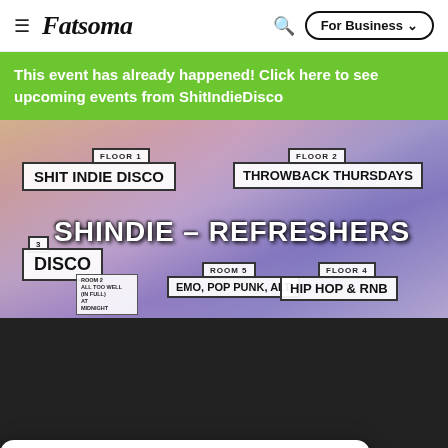Fatsoma — For Business navigation
This event has already happened! Click here to see upcoming events from ShitIndieDisco
[Figure (photo): Event promotional image for SHINDIE - REFRESHERS showing a crowded nightclub scene with multiple floor/room labels: Floor 1 - Shit Indie Disco, Floor 2 - Throwback Thursdays, Room 3 - Disco, Room 5 - Emo, Pop Punk, Alt, Floor 4 - Hip Hop & RnB]
Fatsoma uses cookies to give you the best experience. View Privacy Policy. Ok